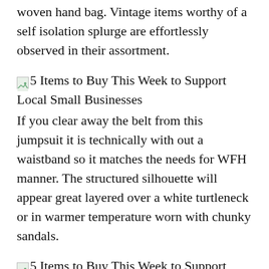woven hand bag. Vintage items worthy of a self isolation splurge are effortlessly observed in their assortment.
[Figure (illustration): Broken image placeholder icon for '5 Items to Buy This Week to Support Local Small Businesses']
5 Items to Buy This Week to Support Local Small Businesses
If you clear away the belt from this jumpsuit it is technically with out a waistband so it matches the needs for WFH manner. The structured silhouette will appear great layered over a white turtleneck or in warmer temperature worn with chunky sandals.
[Figure (illustration): Broken image placeholder icon for '5 Items to Buy This Week to Support Local Small Businesses']
5 Items to Buy This Week to Support Local Small Businesses
A classic uncover is usually a thrill so getting one sent to your doorway is that considerably far better. This black leather trench is the ideal changeover piece and you will not find it wherever else.
[Figure (illustration): Broken image placeholder icon for '5 Items to Buy This Week to Support Local Small Businesses']
5 Items to Buy This Week to Support Local Small